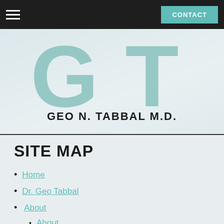Navigation bar with hamburger menu and CONTACT button
[Figure (logo): GT monogram logo with large teal G and T letters, text reads GEO N. TABBAL M.D.]
SITE MAP
Home
Dr. Geo Tabbal
About
About (sub-item)
Our Facility